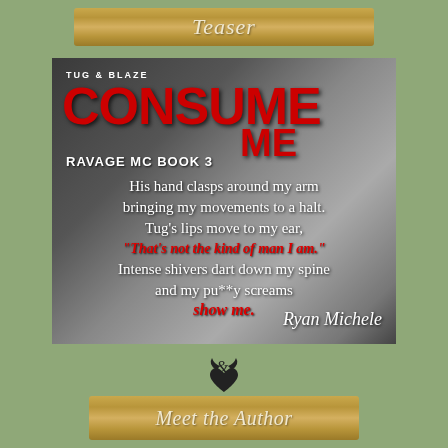Teaser
[Figure (illustration): Book cover for 'Consume Me' by Ryan Michele, Tug & Blaze, Ravage MC Book 3. Black and white intimate photo background with red title text. Quote overlay: 'His hand clasps around my arm bringing my movements to a halt. Tug’s lips move to my ear, “That’s not the kind of man I am.” Intense shivers dart down my spine and my pu**y screams show me.']
Meet the Author